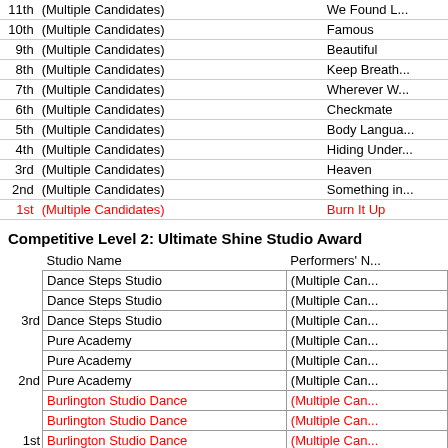| Rank | Performer | Song |
| --- | --- | --- |
| 11th | (Multiple Candidates) | We Found L... |
| 10th | (Multiple Candidates) | Famous |
| 9th | (Multiple Candidates) | Beautiful |
| 8th | (Multiple Candidates) | Keep Breath... |
| 7th | (Multiple Candidates) | Wherever W... |
| 6th | (Multiple Candidates) | Checkmate |
| 5th | (Multiple Candidates) | Body Langua... |
| 4th | (Multiple Candidates) | Hiding Under... |
| 3rd | (Multiple Candidates) | Heaven |
| 2nd | (Multiple Candidates) | Something in... |
| 1st | (Multiple Candidates) | Burn It Up |
Competitive Level 2: Ultimate Shine Studio Award
| Rank | Studio Name | Performers' Name |
| --- | --- | --- |
|  | Dance Steps Studio | (Multiple Can... |
|  | Dance Steps Studio | (Multiple Can... |
| 3rd | Dance Steps Studio | (Multiple Can... |
|  | Pure Academy | (Multiple Can... |
|  | Pure Academy | (Multiple Can... |
| 2nd | Pure Academy | (Multiple Can... |
|  | Burlington Studio Dance | (Multiple Can... |
|  | Burlington Studio Dance | (Multiple Can... |
| 1st | Burlington Studio Dance | (Multiple Can... |